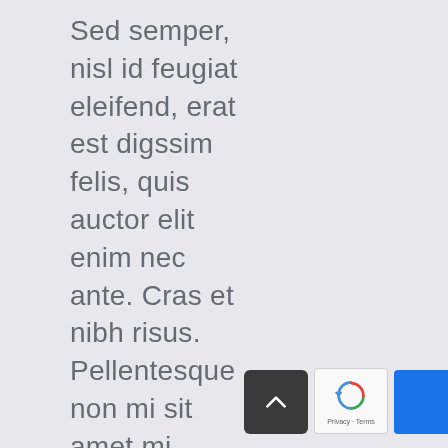Sed semper, nisl id feugiat eleifend, erat est digssim felis, quis auctor elit enim nec ante. Cras et nibh risus. Pellentesque non mi sit amet mi intermentum.